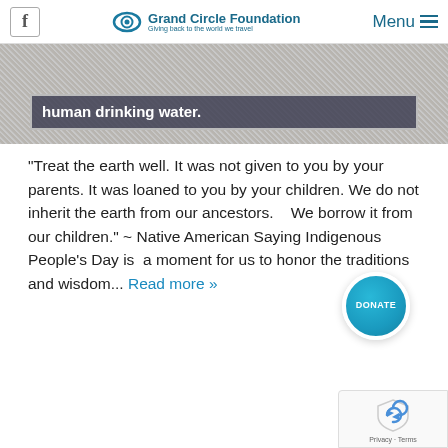Grand Circle Foundation — Giving back to the world we travel | Menu
[Figure (photo): Photo of a sign that reads 'human drinking water.' mounted on a textured stone or gravel background.]
“Treat the earth well. It was not given to you by your parents. It was loaned to you by your children. We do not inherit the earth from our ancestors.    We borrow it from our children.” ~ Native American Saying Indigenous People’s Day is  a moment for us to honor the traditions and wisdom... Read more »